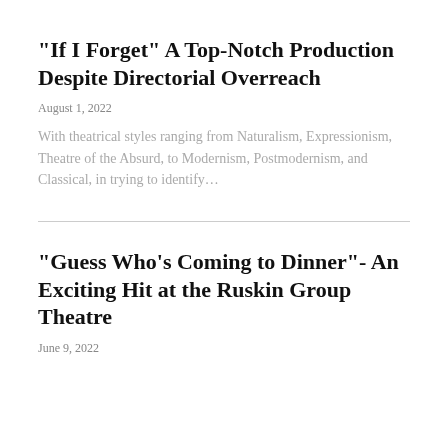“If I Forget” A Top-Notch Production Despite Directorial Overreach
August 1, 2022
With theatrical styles ranging from Naturalism, Expressionism, Theatre of the Absurd, to Modernism, Postmodernism, and Classical, in trying to identify…
“Guess Who’s Coming to Dinner”- An Exciting Hit at the Ruskin Group Theatre
June 9, 2022